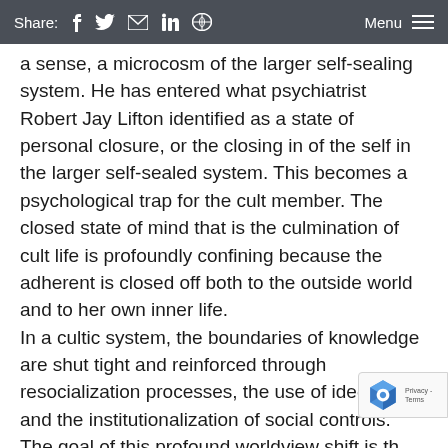Share: [facebook] [twitter] [email] [linkedin] [reddit]   Menu
a sense, a microcosm of the larger self-sealing system. He has entered what psychiatrist Robert Jay Lifton identified as a state of personal closure, or the closing in of the self in the larger self-sealed system. This becomes a psychological trap for the cult member. The closed state of mind that is the culmination of cult life is profoundly confining because the adherent is closed off both to the outside world and to her own inner life. In a cultic system, the boundaries of knowledge are shut tight and reinforced through resocialization processes, the use of ideology, and the institutionalization of social controls. The goal of this profound worldview shift is the reconstruction of personality. The ultimate aim is